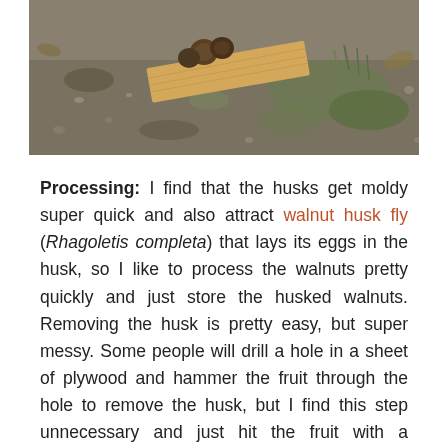[Figure (photo): Outdoor photograph showing walnuts and a piece of plywood on a gravelly ground with moss and grass visible.]
Processing: I find that the husks get moldy super quick and also attract walnut husk fly (Rhagoletis completa) that lays its eggs in the husk, so I like to process the walnuts pretty quickly and just store the husked walnuts. Removing the husk is pretty easy, but super messy. Some people will drill a hole in a sheet of plywood and hammer the fruit through the hole to remove the husk, but I find this step unnecessary and just hit the fruit with a hammer, rotate it 90deg, and hit it again. At that point the husk typically comes off pretty easy. Hit the